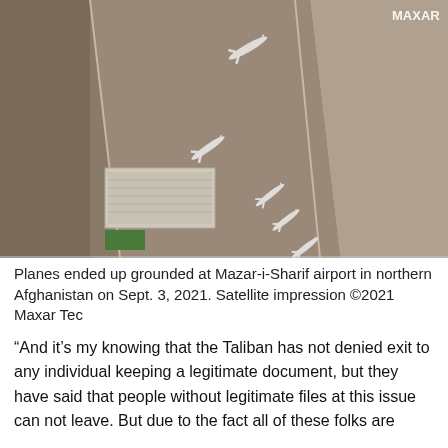[Figure (photo): Satellite image of Mazar-i-Sharif airport in northern Afghanistan, showing planes grounded on the tarmac and runways, with airport buildings and grounds visible. MAXAR watermark in top right corner.]
Planes ended up grounded at Mazar-i-Sharif airport in northern Afghanistan on Sept. 3, 2021. Satellite impression ©2021 Maxar Tec
“And it’s my knowing that the Taliban has not denied exit to any individual keeping a legitimate document, but they have said that people without legitimate files at this issue can not leave. But due to the fact all of these folks are